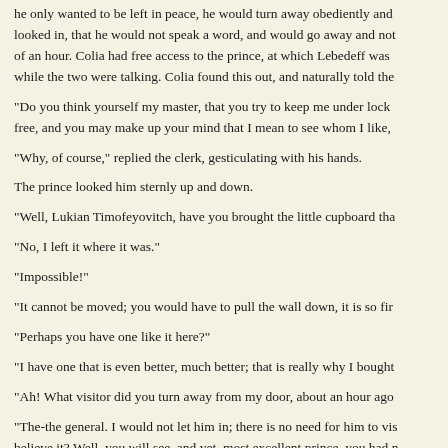he only wanted to be left in peace, he would turn away obediently and looked in, that he would not speak a word, and would go away and not of an hour. Colia had free access to the prince, at which Lebedeff was while the two were talking. Colia found this out, and naturally told the
"Do you think yourself my master, that you try to keep me under lock free, and you may make up your mind that I mean to see whom I like,
"Why, of course," replied the clerk, gesticulating with his hands.
The prince looked him sternly up and down.
"Well, Lukian Timofeyovitch, have you brought the little cupboard tha
"No, I left it where it was."
"Impossible!"
"It cannot be moved; you would have to pull the wall down, it is so fir
"Perhaps you have one like it here?"
"I have one that is even better, much better; that is really why I bought
"Ah! What visitor did you turn away from my door, about an hour ago
"The-the general. I would not let him in; there is no need for him to vis believe it? Well, you will see, and yet, most excellent prince, you had n